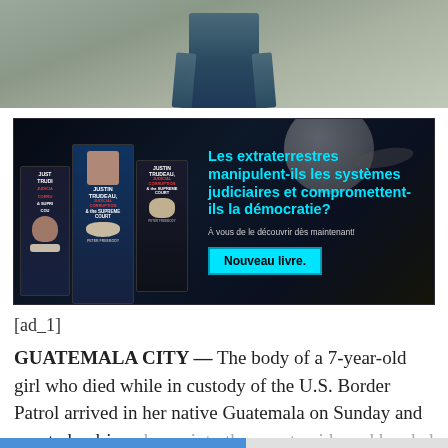[Figure (photo): Cropped photo showing the lower body of a person standing outdoors on grass/gravel background]
[Figure (infographic): Advertisement banner with dark space background featuring book covers titled 'Justin Trudeau, Judicial Corruption & the Supreme Court' and French text asking 'Les extraterrestres manipulent-ils les systèmes judiciaires et compromettent-ils la démocratie?' with a cyan button 'Nouveau livre.']
[ad_1]
GUATEMALA CITY — The body of a 7-year-old girl who died while in custody of the U.S. Border Patrol arrived in her native Guatemala on Sunday and was to be driven hours into the countryside and handed over to family